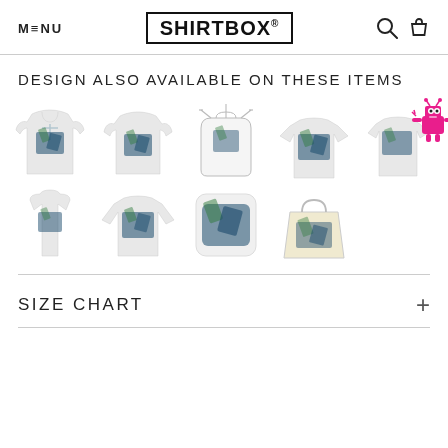MENU | SHIRTBOX® | [search icon] [cart icon]
DESIGN ALSO AVAILABLE ON THESE ITEMS
[Figure (illustration): Grid of clothing/product items showing the design applied to: hoodie, sweatshirt, apron, t-shirt, women's t-shirt, tank top, long sleeve shirt, pillow, tote bag. A pink robot mascot appears in the top-right corner with an X close button.]
SIZE CHART